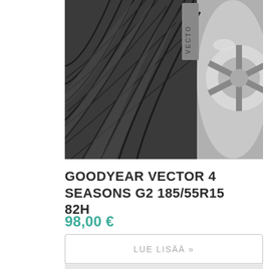[Figure (photo): Close-up photograph of a Goodyear Vector 4 Seasons G2 tire tread pattern, showing detailed diagonal grooves and sipes, with part of a silver alloy wheel rim visible on the right side. The tire sidewall shows 'VECTO' text partially visible.]
GOODYEAR VECTOR 4 SEASONS G2 185/55R15 82H
98,00 €
LUE LISÄÄ »